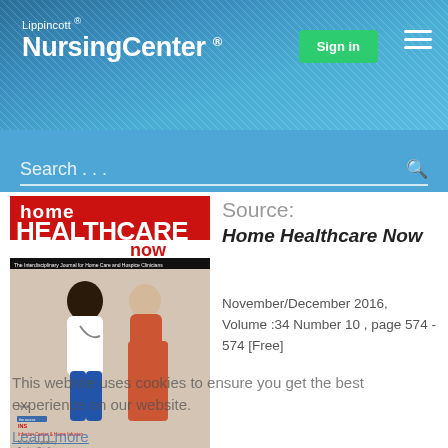Lippincott® NursingCenter®
Search...
Source:
Home Healthcare Now
November/December 2016, Volume :34 Number 10 , page 574 - 574 [Free]
[Figure (photo): Cover of Home Healthcare Now journal showing a nurse helping an elderly patient]
This website uses cookies to ensure you get the best experience on our website.
Learn more
Got it!
Authors